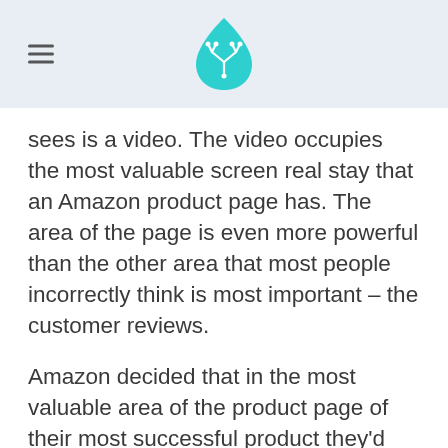[Logo: leaf/circuit icon]
sees is a video. The video occupies the most valuable screen real stay that an Amazon product page has. The area of the page is even more powerful than the other area that most people incorrectly think is most important – the customer reviews.
Amazon decided that in the most valuable area of the product page of their most successful product they'd have a video. It's so simple, just a short easy little video with no actor or spokesperson, a stocked music, a bunch of still photos that zoom and pan around and some text that moves. You could do a video like this in nothing more than Microsoft's Powerpoint or Apple's Keynote, and you could do it